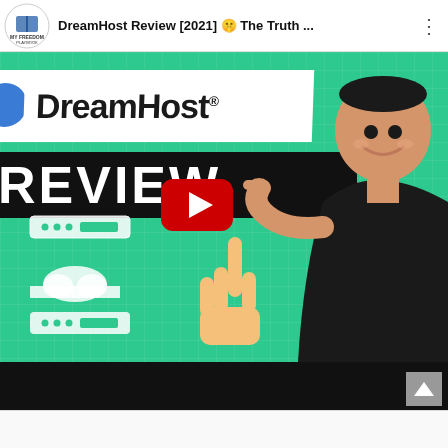[Figure (screenshot): YouTube video thumbnail screenshot showing a DreamHost Review [2021] video. The thumbnail has a green background with white grid lines, a white banner with 'DreamHost' logo text and registered trademark, a black banner with 'REVIEW' in large white letters, a YouTube red play button in the center, a server/cloud icon on the lower left, a smiling Asian man pointing with both hands on the right, and the channel logo 'MY FREEDOM PLAYBOOK' in the top left corner of the player. The video title reads 'DreamHost Review [2021] 🤫 The Truth ...' A scroll-to-top button appears at bottom right.]